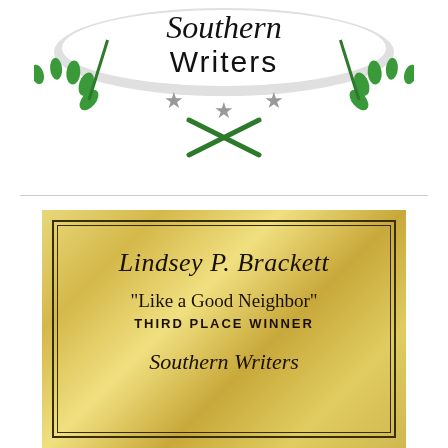[Figure (logo): Southern Writers magazine logo: decorative script and serif text reading 'Southern Writers' on a ribbon banner with green laurel wreath and gray stars below]
[Figure (illustration): Gold plaque with double border containing: 'Lindsey P. Brackett' in script, '"Like a Good Neighbor"' in serif, 'THIRD PLACE WINNER' in bold caps, and 'Southern Writers' in script at bottom]